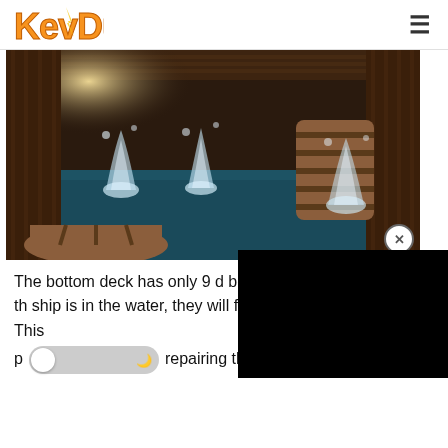KevDuit (logo) with hamburger menu
[Figure (screenshot): Game screenshot showing the bottom deck of a ship flooded with water, with water jets spraying up from holes in the floor. Several wooden barrels visible, dark wooden interior.]
The bottom deck has only 9 d because these holes are on th ship is in the water, they will fl the ones in the mid deck. This p repairing these bottom deck holes!